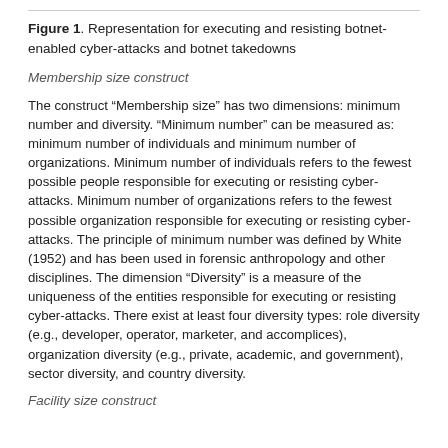Figure 1. Representation for executing and resisting botnet-enabled cyber-attacks and botnet takedowns
Membership size construct
The construct “Membership size” has two dimensions: minimum number and diversity. “Minimum number” can be measured as: minimum number of individuals and minimum number of organizations. Minimum number of individuals refers to the fewest possible people responsible for executing or resisting cyber-attacks. Minimum number of organizations refers to the fewest possible organization responsible for executing or resisting cyber-attacks. The principle of minimum number was defined by White (1952) and has been used in forensic anthropology and other disciplines. The dimension “Diversity” is a measure of the uniqueness of the entities responsible for executing or resisting cyber-attacks. There exist at least four diversity types: role diversity (e.g., developer, operator, marketer, and accomplices), organization diversity (e.g., private, academic, and government), sector diversity, and country diversity.
Facility size construct